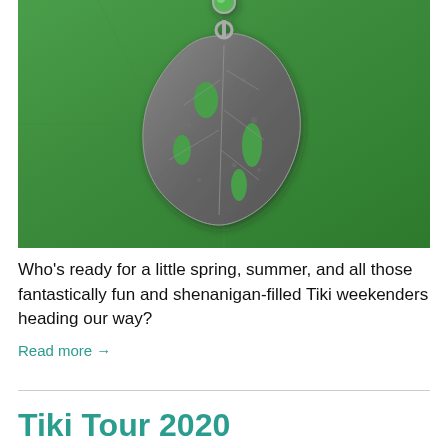[Figure (photo): A silver/metallic monstera leaf pendant charm on a green leaf background. The metal charm features the distinctive split-leaf monstera shape with holes, and has a small green stone or bead at the top.]
Who's ready for a little spring, summer, and all those fantastically fun and shenanigan-filled Tiki weekenders heading our way?
Read more →
Tiki Tour 2020